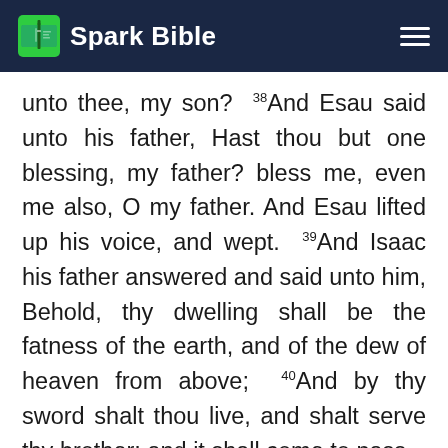Spark Bible
unto thee, my son? 38And Esau said unto his father, Hast thou but one blessing, my father? bless me, even me also, O my father. And Esau lifted up his voice, and wept. 39And Isaac his father answered and said unto him, Behold, thy dwelling shall be the fatness of the earth, and of the dew of heaven from above; 40And by thy sword shalt thou live, and shalt serve thy brother; and it shall come to pass